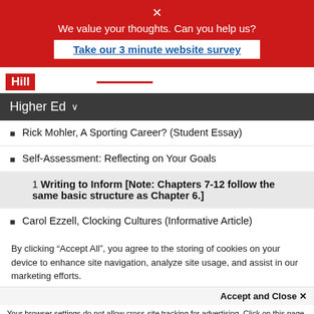✕ We value your thoughts. Can you help us?
Take our 3 minute website survey
[Figure (logo): Hill publisher logo with red background and red underline]
Higher Ed ∨
Rick Mohler, A Sporting Career? (Student Essay)
Self-Assessment: Reflecting on Your Goals
1 Writing to Inform [Note: Chapters 7-12 follow the same basic structure as Chapter 6.]
Carol Ezzell, Clocking Cultures (Informative Article)
By clicking “Accept All”, you agree to the storing of cookies on your device to enhance site navigation, analyze site usage, and assist in our marketing efforts.
Accept and Close ✕
Your browser settings do not allow cross-site tracking for advertising. Click on this page to allow AdRoll to use cross-site tracking to tailor ads to you. Learn more or opt out of this AdRoll tracking by clicking here. This message only appears once.